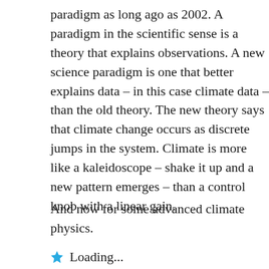paradigm as long ago as 2002. A paradigm in the scientific sense is a theory that explains observations. A new science paradigm is one that better explains data – in this case climate data – than the old theory. The new theory says that climate change occurs as discrete jumps in the system. Climate is more like a kaleidoscope – shake it up and a new pattern emerges – than a control knob with a linear gain.
And now for some advanced climate physics.
Loading...